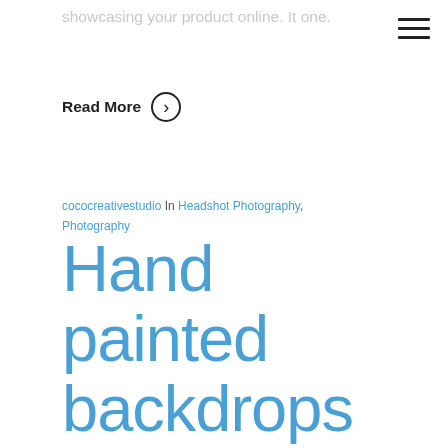showcasing your product online. It one.
Read More >
cococreativestudio In Headshot Photography, Photography
Hand painted backdrops vs Paper